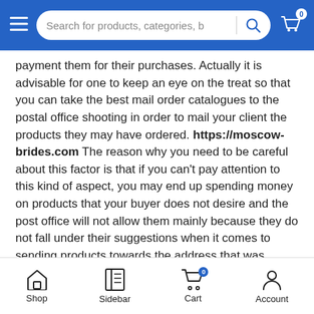Search for products, categories, b
payment them for their purchases. Actually it is advisable for one to keep an eye on the treat so that you can take the best mail order catalogues to the postal office shooting in order to mail your client the products they may have ordered. https://moscow-brides.com The reason why you need to be careful about this factor is that if you can't pay attention to this kind of aspect, you may end up spending money on products that your buyer does not desire and the post office will not allow them mainly because they do not fall under their suggestions when it comes to sending products towards the address that was specified on the order form.
Shop  Sidebar  Cart  Account